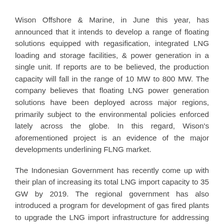Wison Offshore & Marine, in June this year, has announced that it intends to develop a range of floating solutions equipped with regasification, integrated LNG loading and storage facilities, & power generation in a single unit. If reports are to be believed, the production capacity will fall in the range of 10 MW to 800 MW. The company believes that floating LNG power generation solutions have been deployed across major regions, primarily subject to the environmental policies enforced lately across the globe. In this regard, Wison's aforementioned project is an evidence of the major developments underlining FLNG market.
The Indonesian Government has recently come up with their plan of increasing its total LNG import capacity to 35 GW by 2019. The regional government has also introduced a program for development of gas fired plants to upgrade the LNG import infrastructure for addressing new electrification targets.